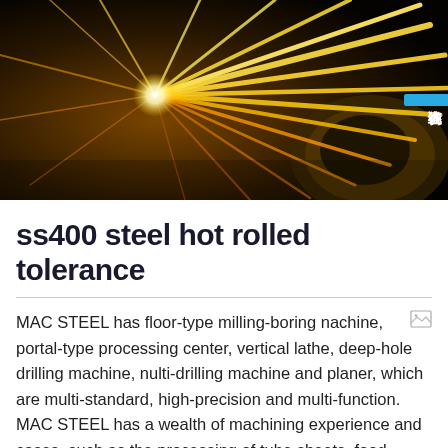[Figure (photo): Close-up photo of metal sparks and glowing yellow-orange rods/beams, industrial machining or metal working process, dark background]
ss400 steel hot rolled tolerance
MAC STEEL has floor-type milling-boring nachine, portal-type processing center, vertical lathe, deep-hole drilling machine, nulti-drilling machine and planer, which are multi-standard, high-precision and multi-function. MAC STEEL has a wealth of machining experience and cases, such as the processing of tube sheets, food